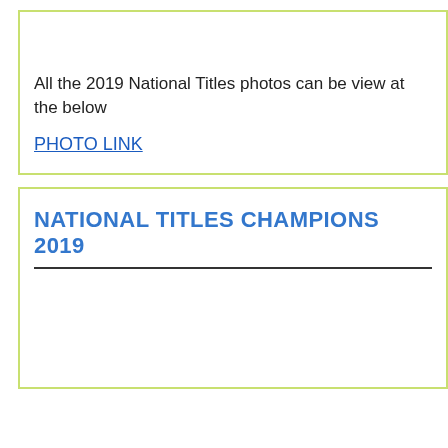All the 2019 National Titles photos can be view at the below
PHOTO LINK
NATIONAL TITLES CHAMPIONS 2019